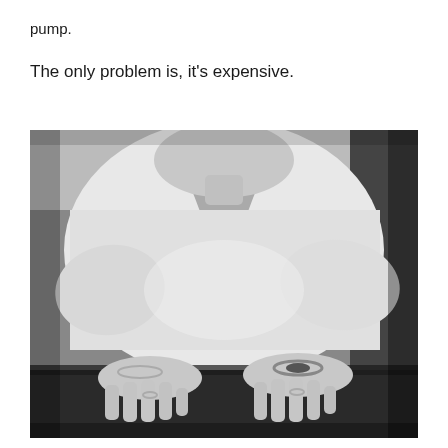pump.
The only problem is, it’s expensive.
[Figure (photo): Black and white photograph of an older woman wearing a white v-neck top, leaning over a table with both hands resting flat on the surface. She is wearing bracelets and rings on her fingers. Her face is partially visible, looking downward.]